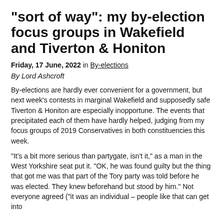"sort of way": my by-election focus groups in Wakefield and Tiverton & Honiton
Friday, 17 June, 2022 in By-elections
By Lord Ashcroft
By-elections are hardly ever convenient for a government, but next week’s contests in marginal Wakefield and supposedly safe Tiverton & Honiton are especially inopportune. The events that precipitated each of them have hardly helped, judging from my focus groups of 2019 Conservatives in both constituencies this week.
“It’s a bit more serious than partygate, isn’t it,” as a man in the West Yorkshire seat put it. “OK, he was found guilty but the thing that got me was that part of the Tory party was told before he was elected. They knew beforehand but stood by him.” Not everyone agreed (“it was an individual – people like that can get into